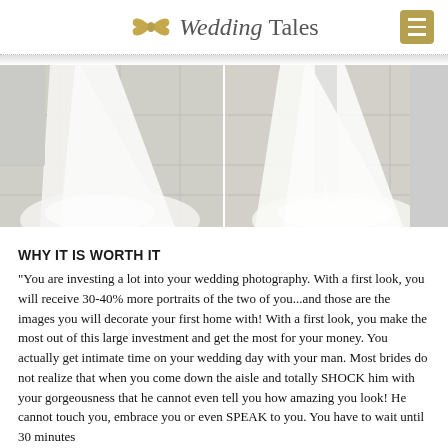Wedding Tales
[Figure (photo): Two side-by-side photos: left shows a white wedding dress train on a tiled floor; right shows a bride in white dress and groom in black suit from behind on a tiled floor.]
WHY IT IS WORTH IT
“You are investing a lot into your wedding photography. With a first look, you will receive 30-40% more portraits of the two of you...and those are the images you will decorate your first home with! With a first look, you make the most out of this large investment and get the most for your money. You actually get intimate time on your wedding day with your man. Most brides do not realize that when you come down the aisle and totally SHOCK him with your gorgeousness that he cannot even tell you how amazing you look! He cannot touch you, embrace you or even SPEAK to you. You have to wait until 30 minutes